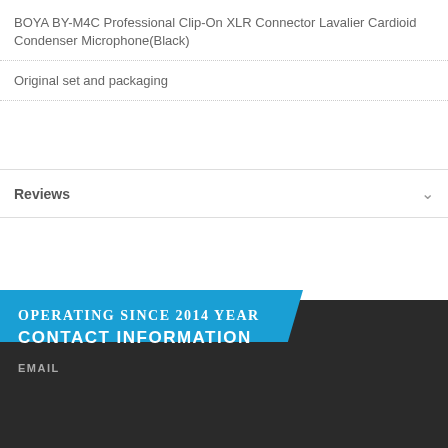BOYA BY-M4C Professional Clip-On XLR Connector Lavalier Cardioid Condenser Microphone(Black)
Original set and packaging
Reviews
OPERATING SINCE 2014 YEAR
CONTACT INFORMATION
EMAIL